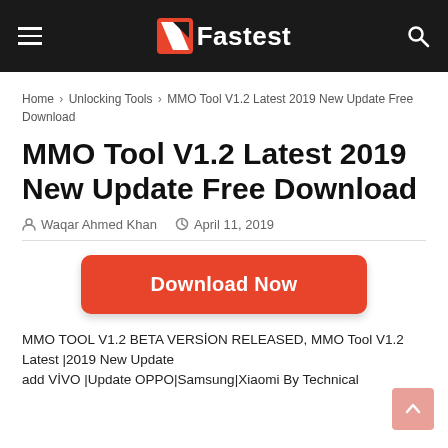NiFastest — navigation bar with hamburger menu and search icon
Home > Unlocking Tools > MMO Tool V1.2 Latest 2019 New Update Free Download
MMO Tool V1.2 Latest 2019 New Update Free Download
Waqar Ahmed Khan   April 11, 2019
[Figure (other): Download Now button — red rounded rectangle with white bold text]
MMO TOOL V1.2 BETA VERSİON RELEASED, MMO Tool V1.2 Latest |2019 New Update add VİVO |Update OPPO|Samsung|Xiaomi By Technical